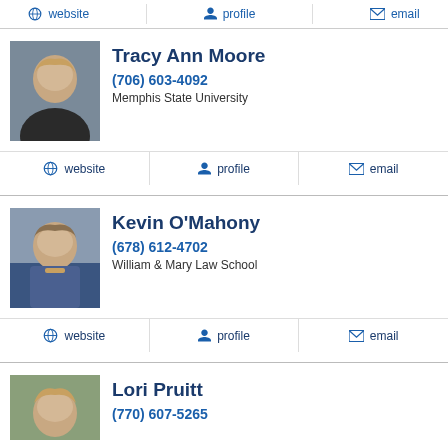[Figure (other): Top partial bar with small icons, cropped from previous listing]
Tracy Ann Moore
(706) 603-4092
Memphis State University
website | profile | email
Kevin O'Mahony
(678) 612-4702
William & Mary Law School
website | profile | email
Lori Pruitt
(770) 607-5265